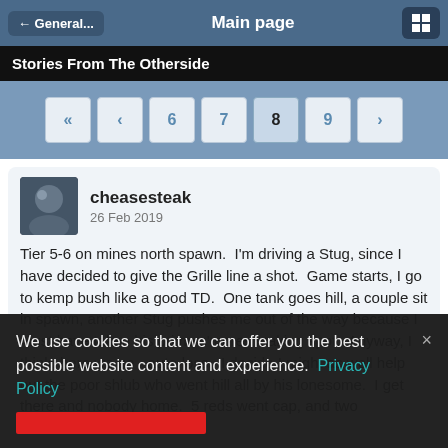← General...   Main page
Stories From The Otherside
« ‹ 6 7 8 9 ›
cheasesteak
26 Feb 2019
Tier 5-6 on mines north spawn.  I'm driving a Stug, since I have decided to give the Grille line a shot.  Game starts, I go to kemp bush like a good TD.  One tank goes hill, a couple sit in spawn, another Stug pushes me out of the way because I must have taken his prime s'mores making spot.  Anyway, I think, here we go - auto-loss.  I decide I might as well help out the poor shlub who went hill all by his lonesome.  I get there and nobody home.  5 reds went cap, and two
We use cookies so that we can offer you the best possible website content and experience. Privacy Policy